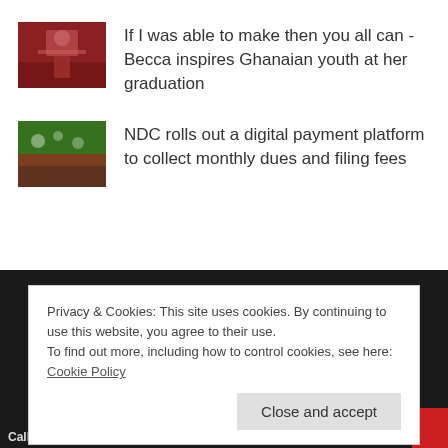[Figure (photo): Thumbnail photo of a person at a podium/stage with red lighting]
If I was able to make then you all can - Becca inspires Ghanaian youth at her graduation
[Figure (photo): Thumbnail photo of a crowd/rally with green, red and white colors, flags visible]
NDC rolls out a digital payment platform to collect monthly dues and filing fees
Privacy & Cookies: This site uses cookies. By continuing to use this website, you agree to their use.
To find out more, including how to control cookies, see here: Cookie Policy
Call/WhatsApp: 059 152 1188